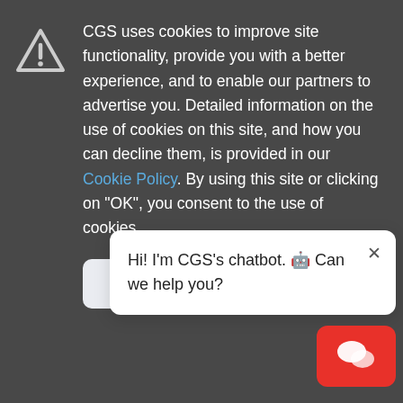CGS uses cookies to improve site functionality, provide you with a better experience, and to enable our partners to advertise you. Detailed information on the use of cookies on this site, and how you can decline them, is provided in our Cookie Policy. By using this site or clicking on "OK", you consent to the use of cookies.
OK, I AGREE
channel sales materials should be enabling your prospects and
Hi! I'm CGS's chatbot. 🤖 Can we help you?
benefit from your solutions and what they'll get f...